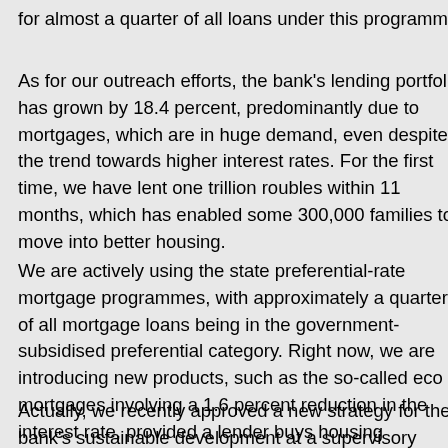for almost a quarter of all loans under this programme.
As for our outreach efforts, the bank's lending portfolio has grown by 18.4 percent, predominantly due to mortgages, which are in huge demand, even despite the trend towards higher interest rates. For the first time, we have lent one trillion roubles within 11 months, which has enabled some 300,000 families to move into better housing.
We are actively using the state preferential-rate mortgage programmes, with approximately a quarter of all mortgage loans being in the government-subsidised preferential category. Right now, we are introducing new products, such as the so-called eco mortgages involving a 1.6 percent reduction in the interest rate, provided a lender buys housing conforming to the highest environmental standards. We will develop this trend.
Actually, we recently approved a new strategy for the bank's sustainable development at a supervisory board meeting. This w